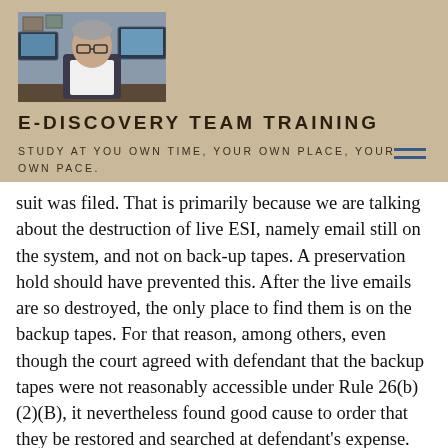[Figure (photo): Photo of a man with gray hair and glasses sitting at a desk with computer monitors in the background]
E-DISCOVERY TEAM TRAINING
STUDY AT YOU OWN TIME, YOUR OWN PLACE, YOUR OWN PACE.
suit was filed. That is primarily because we are talking about the destruction of live ESI, namely email still on the system, and not on back-up tapes. A preservation hold should have prevented this. After the live emails are so destroyed, the only place to find them is on the backup tapes. For that reason, among others, even though the court agreed with defendant that the backup tapes were not reasonably accessible under Rule 26(b)(2)(B), it nevertheless found good cause to order that they be restored and searched at defendant's expense.